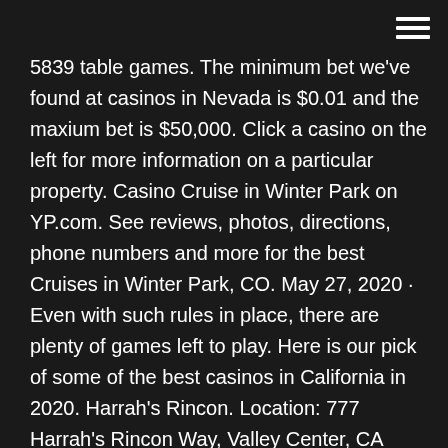[hamburger menu icon]
5839 table games. The minimum bet we've found at casinos in Nevada is $0.01 and the maxium bet is $50,000. Click a casino on the left for more information on a particular property. Casino Cruise in Winter Park on YP.com. See reviews, photos, directions, phone numbers and more for the best Cruises in Winter Park, CO. May 27, 2020 · Even with such rules in place, there are plenty of games left to play. Here is our pick of some of the best casinos in California in 2020. Harrah's Rincon. Location: 777 Harrah's Rincon Way, Valley Center, CA 92082. Img source: harrahssocal.com. With 1,700 slots and 70 game tables, Harrah's Rincon is one of the largest casinos in California. About Tidel. We help organizations secure, automate and streamline their cash handling processes. Our portfolio of